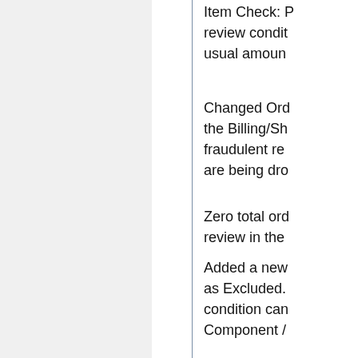Item Check: P... review condit... usual amoun...
Changed Ord... the Billing/Sh... fraudulent re... are being dro...
Zero total ord... review in the...
Added a new... as Excluded. condition can... Component /...
### UK/EU VA...
The European... now be used... compliant, an... rules.  System...